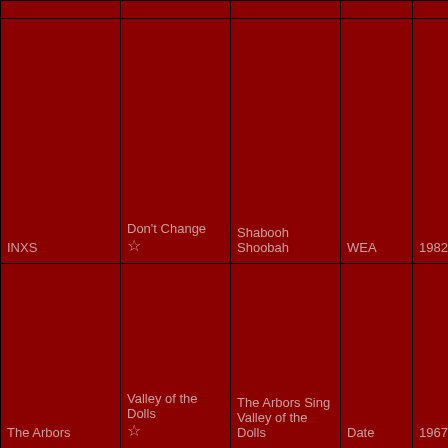| Artist | Song | Album | Label | Year |
| --- | --- | --- | --- | --- |
| INXS | Don't Change ☆ | Shabooh Shoobah | WEA | 1982 |
| The Arbors | Valley of the Dolls ☆ | The Arbors Sing Valley of the Dolls | Date | 1967 |